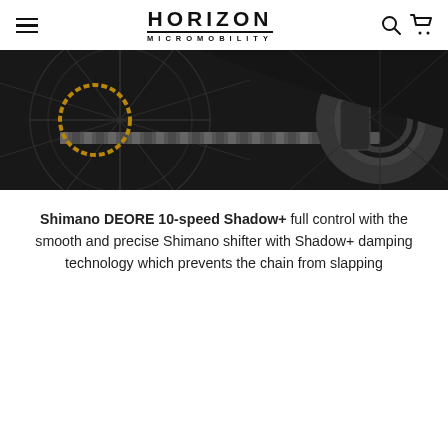HORIZON MICROMOBILITY
[Figure (photo): Close-up photo of a bicycle drivetrain showing chain, sprocket, cassette, and rear derailleur against a dark background.]
Shimano DEORE 10-speed Shadow+ full control with the smooth and precise Shimano shifter with Shadow+ damping technology which prevents the chain from slapping